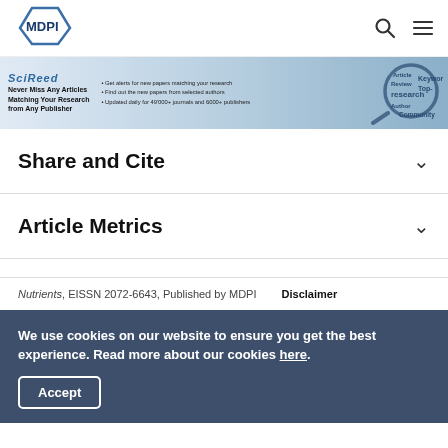MDPI — navigation bar with search and menu icons
[Figure (infographic): SciReed banner advertisement: Never Miss Any Articles Matching Your Research from Any Publisher. Get alerts for new papers matching your research. Find out the new papers from selected authors. Updated daily for 49000+ journals and 6000+ publishers.]
Share and Cite
Article Metrics
Nutrients, EISSN 2072-6643, Published by MDPI   Disclaimer
We use cookies on our website to ensure you get the best experience. Read more about our cookies here.
Accept